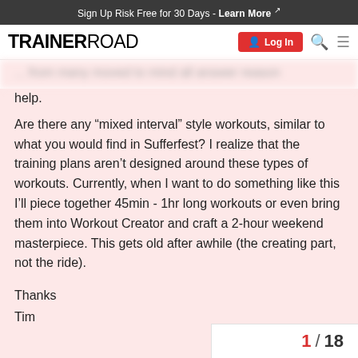Sign Up Risk Free for 30 Days - Learn More
[Figure (logo): TrainerRoad logo with Login button, search icon, and hamburger menu]
help.
Are there any “mixed interval” style workouts, similar to what you would find in Sufferfest? I realize that the training plans aren’t designed around these types of workouts. Currently, when I want to do something like this I’ll piece together 45min - 1hr long workouts or even bring them into Workout Creator and craft a 2-hour weekend masterpiece. This gets old after awhile (the creating part, not the ride).
Thanks
Tim
1 / 18